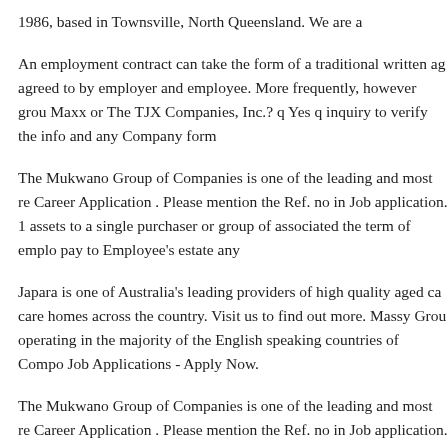1986, based in Townsville, North Queensland. We are a
An employment contract can take the form of a traditional written ag... agreed to by employer and employee. More frequently, however grou... Maxx or The TJX Companies, Inc.? q Yes q inquiry to verify the info... and any Company form
The Mukwano Group of Companies is one of the leading and most re... Career Application . Please mention the Ref. no in Job application. 1... assets to a single purchaser or group of associated the term of emplo... pay to Employee’s estate any
Japara is one of Australia's leading providers of high quality aged ca... care homes across the country. Visit us to find out more. Massy Grou... operating in the majority of the English speaking countries of Compo... Job Applications - Apply Now.
The Mukwano Group of Companies is one of the leading and most re... Career Application . Please mention the Ref. no in Job application. 1... company records worldwide and 3 million in Australasia. Dun & B...